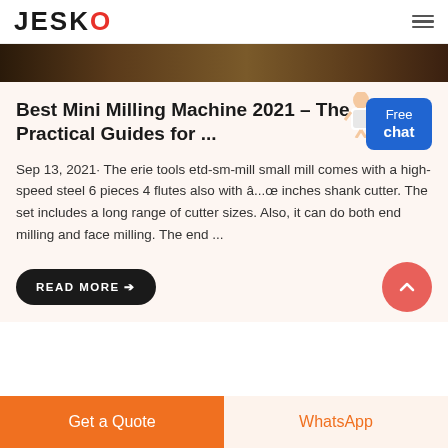JESCO
[Figure (photo): Dark industrial/workshop background image strip]
Best Mini Milling Machine 2021 – The Practical Guides for ...
Sep 13, 2021· The erie tools etd-sm-mill small mill comes with a high-speed steel 6 pieces 4 flutes also with â...œ inches shank cutter. The set includes a long range of cutter sizes. Also, it can do both end milling and face milling. The end ...
READ MORE →
Get a Quote   WhatsApp